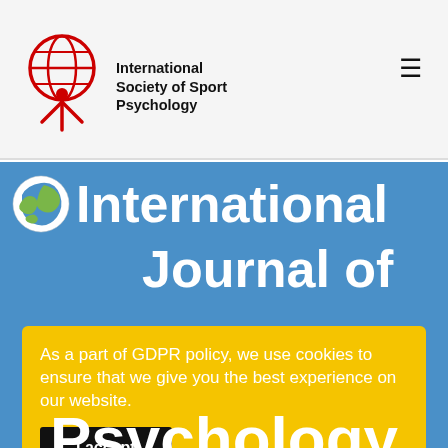International Society of Sport Psychology
International Journal of
As a part of GDPR policy, we use cookies to ensure that we give you the best experience on our website.
I accept
Psychology